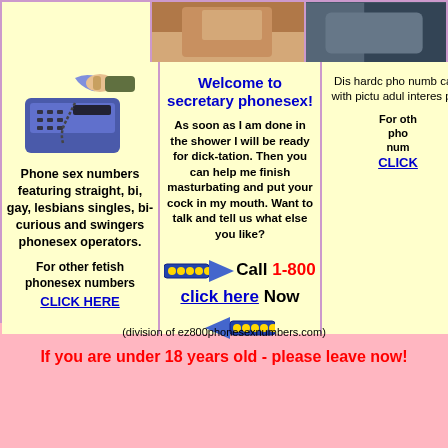[Figure (illustration): Pixel art illustration of a telephone being dialed by a hand]
[Figure (photo): Cropped photo showing a person's torso/skin]
[Figure (photo): Partial photo of a telephone or similar device, dark tones]
Phone sex numbers featuring straight, bi, gay, lesbians singles, bi-curious and swingers phonesex operators.
For other fetish phonesex numbers CLICK HERE
Welcome to secretary phonesex!
As soon as I am done in the shower I will be ready for dick-tation. Then you can help me finish masturbating and put your cock in my mouth. Want to talk and tell us what else you like?
Call 1-800 click here Now
Dis hardc pho numb cate with pictu adul interes pho
For oth pho num CLICK
(division of ez800phonesexnumbers.com)
If you are under 18 years old - please leave now!